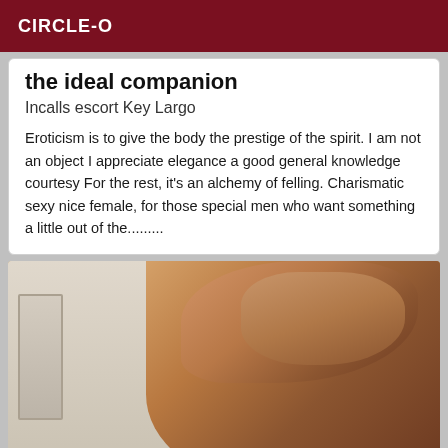CIRCLE-O
the ideal companion
Incalls escort Key Largo
Eroticism is to give the body the prestige of the spirit. I am not an object I appreciate elegance a good general knowledge courtesy For the rest, it's an alchemy of felling. Charismatic sexy nice female, for those special men who want something a little out of the.........
[Figure (photo): Close-up photo of a woman with reddish-blonde hair, brown skin, visible tattoo on shoulder/chest area, wearing a dark green top, posed near a white door.]